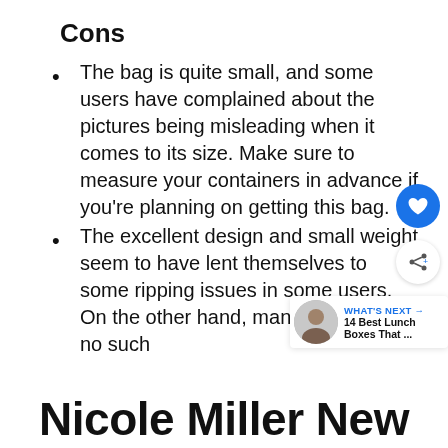Cons
The bag is quite small, and some users have complained about the pictures being misleading when it comes to its size. Make sure to measure your containers in advance if you're planning on getting this bag.
The excellent design and small weight seem to have lent themselves to some ripping issues in some users. On the other hand, many users report no such
Nicole Miller New